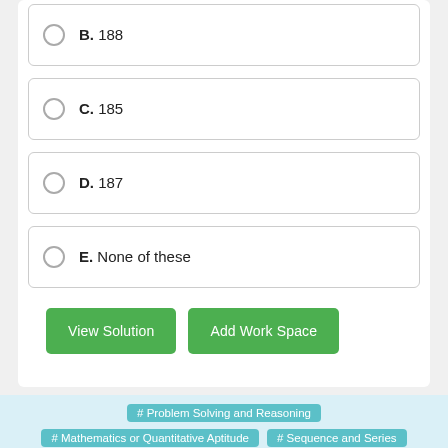B. 188
C. 185
D. 187
E. None of these
View Solution
Add Work Space
# Problem Solving and Reasoning
# Mathematics or Quantitative Aptitude
# Sequence and Series